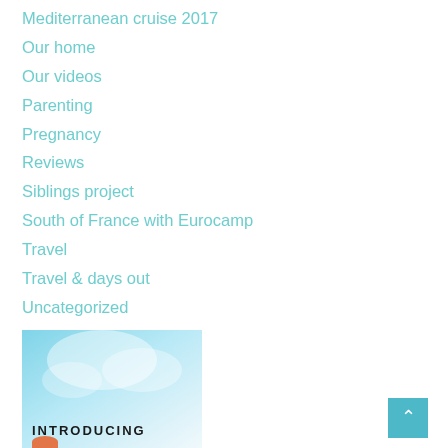Mediterranean cruise 2017
Our home
Our videos
Parenting
Pregnancy
Reviews
Siblings project
South of France with Eurocamp
Travel
Travel & days out
Uncategorized
What mama wore
What the boys wore
[Figure (illustration): Promotional image with light blue sky background and text reading 'INTRODUCING' with an orange graphic element at the bottom]
[Figure (other): Teal scroll-to-top button with upward arrow]